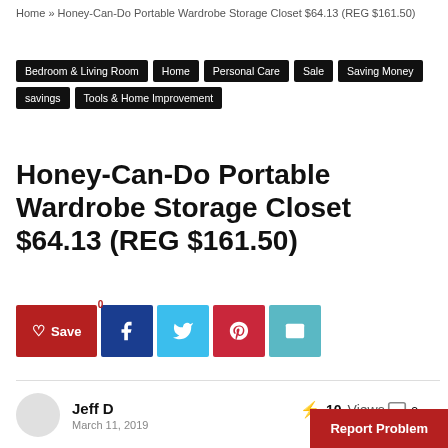Home » Honey-Can-Do Portable Wardrobe Storage Closet $64.13 (REG $161.50)
Bedroom & Living Room
Home
Personal Care
Sale
Saving Money
savings
Tools & Home Improvement
Honey-Can-Do Portable Wardrobe Storage Closet $64.13 (REG $161.50)
Save 0 [social share buttons: Facebook, Twitter, Pinterest, Email]
Jeff D
March 11, 2019
10 Views  0
Report Problem